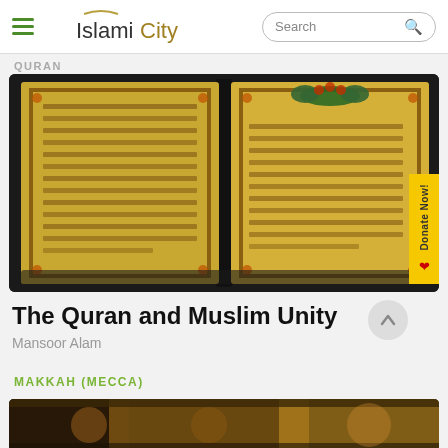IslamiCity
QURAN
[Figure (photo): Open illuminated Quran manuscript with ornate gold calligraphy and decorative borders, Arabic text visible on both pages]
The Quran and Muslim Unity
Mansoor Alam
MAKKAH (MECCA)
[Figure (photo): Partial view of Makkah/Mecca related image, mostly cropped]